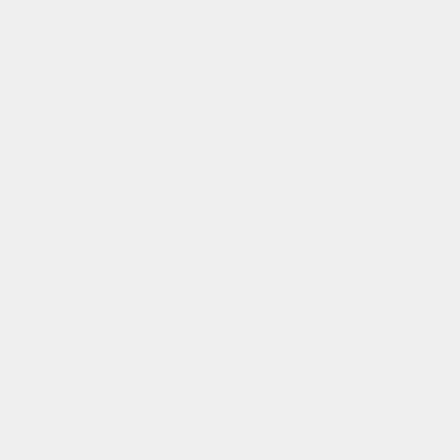Agencies. Monitor and Clarify the Appropriate Use of Mitigation Findings of No Significant Impact (Jan. 14, 2011), available at
Cooperating Agencies in Implementing the Procedural Requirements of the National Environmental Policy Act (January 30, 2002), available